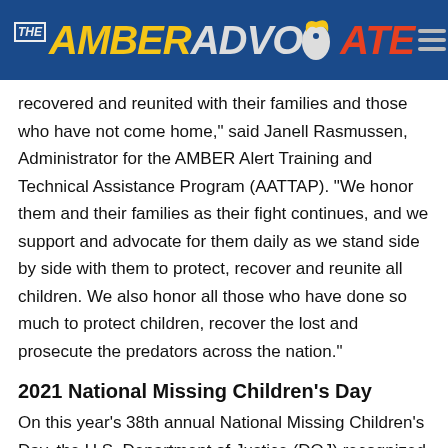THE AMBER ADVOCATE
recovered and reunited with their families and those who have not come home," said Janell Rasmussen, Administrator for the AMBER Alert Training and Technical Assistance Program (AATTAP). "We honor them and their families as their fight continues, and we support and advocate for them daily as we stand side by side with them to protect, recover and reunite all children. We also honor all those who have done so much to protect children, recover the lost and prosecute the predators across the nation."
2021 National Missing Children's Day
On this year's 38th annual National Missing Children's Day, the U.S. Department of Justice (DOJ) recognized those who have made extraordinary efforts in protecting children from harm and bringing perpetrators to justice. While an in-person awards